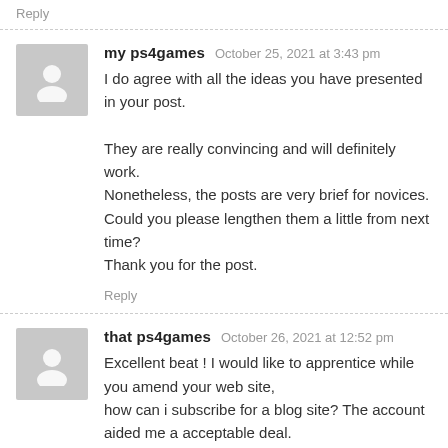Reply
my ps4games   October 25, 2021 at 3:43 pm
I do agree with all the ideas you have presented in your post.

They are really convincing and will definitely work. Nonetheless, the posts are very brief for novices. Could you please lengthen them a little from next time? Thank you for the post.
Reply
that ps4games   October 26, 2021 at 12:52 pm
Excellent beat ! I would like to apprentice while you amend your web site, how can i subscribe for a blog site? The account aided me a acceptable deal. I had been tiny bit acquainted of this your broadcast